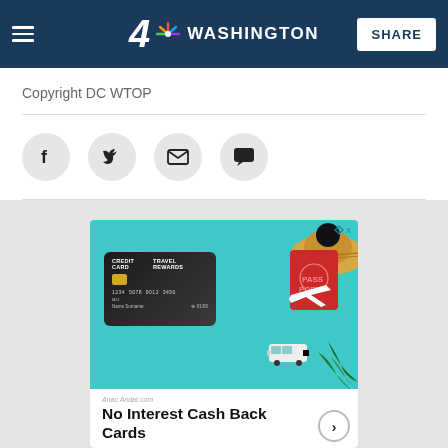4 NBC WASHINGTON  SHARE
Copyright DC WTOP
[Figure (infographic): Social sharing icons: Facebook, Twitter, Email, Comment — circular gray buttons]
[Figure (infographic): Advertisement: No Interest Cash Back Cards — travel rewards credit card with passport, airplane, hat imagery on teal background]